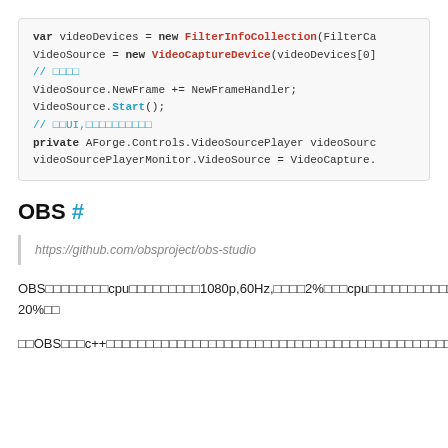[Figure (screenshot): Code block showing C# code using FilterInfoCollection and VideoCaptureDevice, with comments and VideoSource usage]
OBS #
https://github.com/obsproject/obs-studio
OBS□□□□□□□□cpu□□□□□□□□□1080p,60Hz,□□□□2%□□□cpu□□□□□□□□□□□10-20%□□
□□OBS□□□c++□□□□□□□□□□□□□□□□□□□□□□□□□□□□□□□□□□□□□□□□□□□□□□□□□